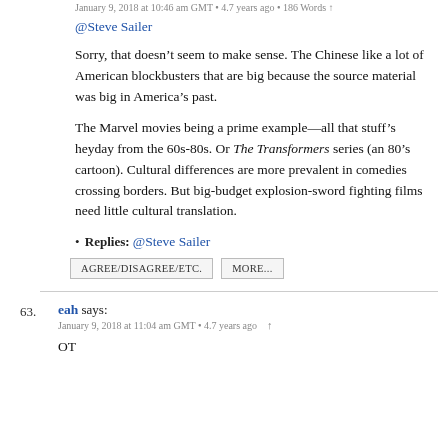January 9, 2018 at 10:45 am GMT • 4.7 years ago • 186 Words ↑
@Steve Sailer
Sorry, that doesn't seem to make sense. The Chinese like a lot of American blockbusters that are big because the source material was big in America's past.
The Marvel movies being a prime example—all that stuff's heyday from the 60s-80s. Or The Transformers series (an 80's cartoon). Cultural differences are more prevalent in comedies crossing borders. But big-budget explosion-sword fighting films need little cultural translation.
• Replies: @Steve Sailer
AGREE/DISAGREE/ETC.    MORE...
63. eah says:
January 9, 2018 at 11:04 am GMT • 4.7 years ago ↑
OT